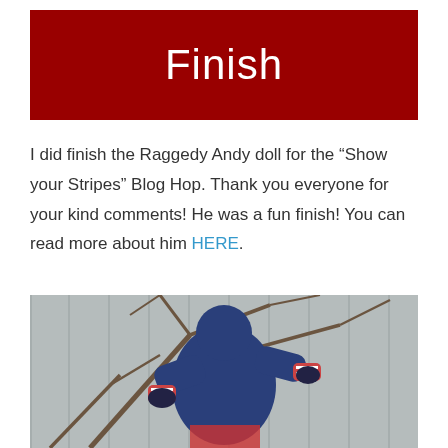Finish
I did finish the Raggedy Andy doll for the “Show your Stripes” Blog Hop. Thank you everyone for your kind comments! He was a fun finish! You can read more about him HERE.
[Figure (photo): Raggedy Andy doll wearing a blue jacket and striped sleeves, appearing to climb bare tree branches against a gray wooden fence background]